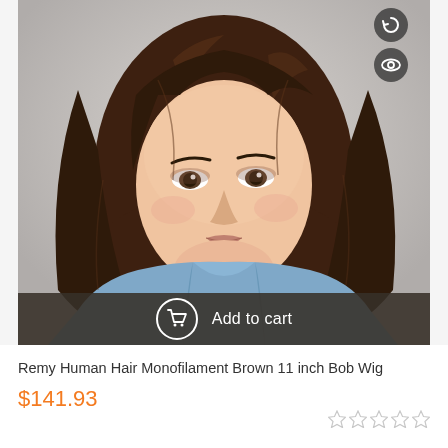[Figure (photo): Woman wearing a brown 11-inch bob wig styled with bangs swept to the side, wearing a light blue denim shirt, photographed against a light gray background. Product photo for a wig listing.]
Add to cart
Remy Human Hair Monofilament Brown 11 inch Bob Wig
$141.93